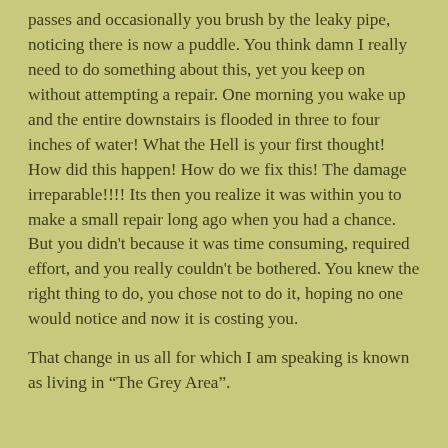passes and occasionally you brush by the leaky pipe, noticing there is now a puddle. You think damn I really need to do something about this, yet you keep on without attempting a repair. One morning you wake up and the entire downstairs is flooded in three to four inches of water! What the Hell is your first thought! How did this happen! How do we fix this! The damage irreparable!!!! Its then you realize it was within you to make a small repair long ago when you had a chance. But you didn't because it was time consuming, required effort, and you really couldn't be bothered. You knew the right thing to do, you chose not to do it, hoping no one would notice and now it is costing you.
That change in us all for which I am speaking is known as living in "The Grey Area".